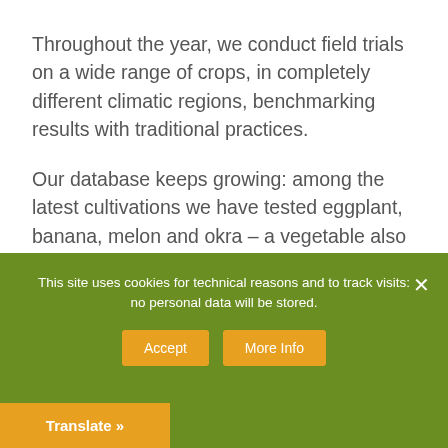Throughout the year, we conduct field trials on a wide range of crops, in completely different climatic regions, benchmarking results with traditional practices.
Our database keeps growing: among the latest cultivations we have tested eggplant, banana, melon and okra – a vegetable also known as “lady’s fingers”.
This is the best way to prove that a well...
This site uses cookies for technical reasons and to track visits: no personal data will be stored.